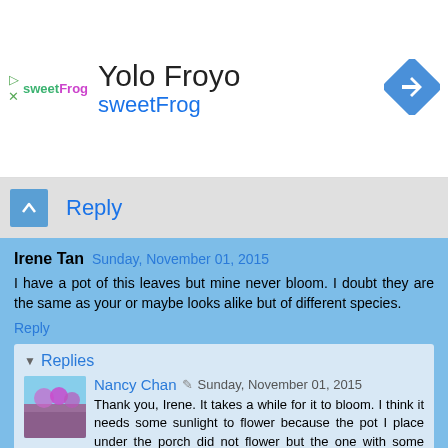[Figure (logo): sweetFrog logo and Yolo Froyo ad banner with navigation icon]
Reply
Irene Tan  Sunday, November 01, 2015
I have a pot of this leaves but mine never bloom. I doubt they are the same as your or maybe looks alike but of different species.
Reply
Replies
Nancy Chan  Sunday, November 01, 2015
Thank you, Irene. It takes a while for it to bloom. I think it needs some sunlight to flower because the pot I place under the porch did not flower but the one with some sunlight flowered.